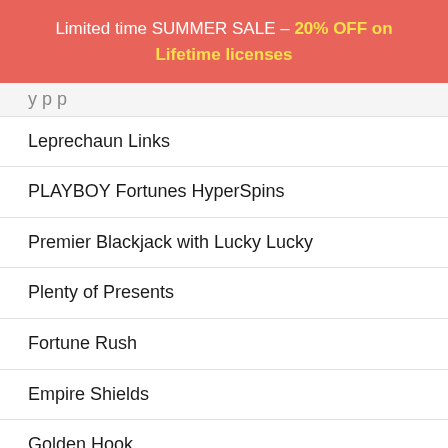Limited time SUMMER SALE – 20% OFF on Lifetime licenses
Leprechaun Links
PLAYBOY Fortunes HyperSpins
Premier Blackjack with Lucky Lucky
Plenty of Presents
Fortune Rush
Empire Shields
Golden Hook
Cat Clans
Arctic Enchantress
Links of Ra